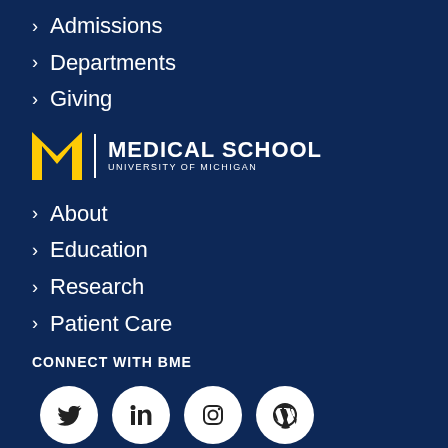Admissions
Departments
Giving
[Figure (logo): University of Michigan Medical School logo with block M in yellow and text MEDICAL SCHOOL / UNIVERSITY OF MICHIGAN in white]
About
Education
Research
Patient Care
CONNECT WITH BME
[Figure (infographic): Four white circular social media icons: Twitter, LinkedIn, Instagram, WordPress]
GET THE BME NEWSLETTER
Enter your Email